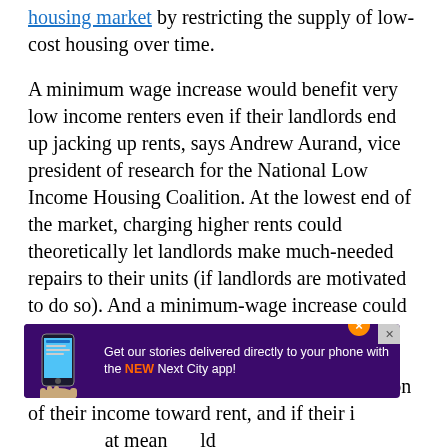housing market by restricting the supply of low-cost housing over time.
A minimum wage increase would benefit very low income renters even if their landlords end up jacking up rents, says Andrew Aurand, vice president of research for the National Low Income Housing Coalition. At the lowest end of the market, charging higher rents could theoretically let landlords make much-needed repairs to their units (if landlords are motivated to do so). And a minimum-wage increase could theoretically help increase the supply of subsidized housing as well. Renters who use vouchers or live in public housing pay a portion of their income toward rent, and if their i... at mean... ld a...
[Figure (other): Advertisement banner: 'Get our stories delivered directly to your phone with the NEW Next City app!' with a phone image graphic, orange close button, and small X in corner, on a purple background.]